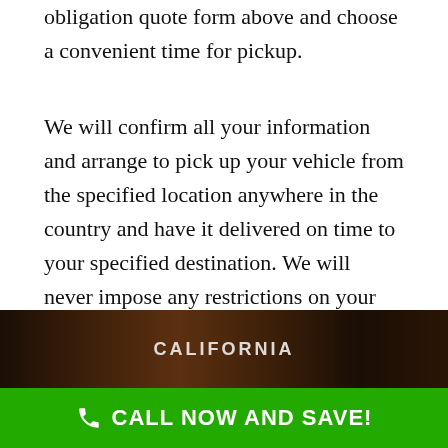obligation quote form above and choose a convenient time for pickup.
We will confirm all your information and arrange to pick up your vehicle from the specified location anywhere in the country and have it delivered on time to your specified destination. We will never impose any restrictions on your specified destination while allowing you complete freedom to plan your trip without any of the hassle or worries involved.
[Figure (photo): A dark photo strip showing a California license plate scene]
CALL NOW AND SAVE!